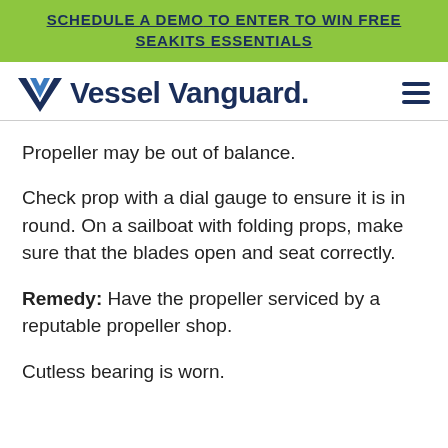SCHEDULE A DEMO TO ENTER TO WIN FREE SEAKITS ESSENTIALS
[Figure (logo): Vessel Vanguard logo with V-shaped checkmark icon and hamburger menu icon]
Propeller may be out of balance.
Check prop with a dial gauge to ensure it is in round. On a sailboat with folding props, make sure that the blades open and seat correctly.
Remedy: Have the propeller serviced by a reputable propeller shop.
Cutless bearing is worn.